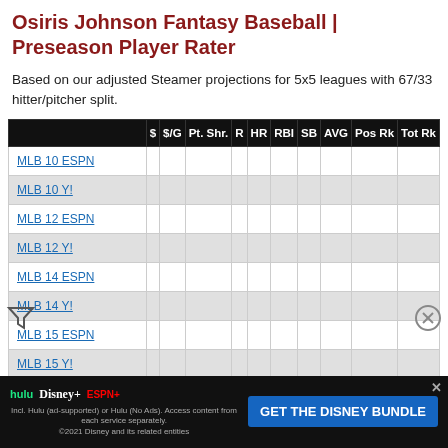Osiris Johnson Fantasy Baseball | Preseason Player Rater
Based on our adjusted Steamer projections for 5x5 leagues with 67/33 hitter/pitcher split.
|  | $ | $/G | Pt. Shr. | R | HR | RBI | SB | AVG | Pos Rk | Tot Rk |
| --- | --- | --- | --- | --- | --- | --- | --- | --- | --- | --- |
| MLB 10 ESPN |  |  |  |  |  |  |  |  |  |  |
| MLB 10 Y! |  |  |  |  |  |  |  |  |  |  |
| MLB 12 ESPN |  |  |  |  |  |  |  |  |  |  |
| MLB 12 Y! |  |  |  |  |  |  |  |  |  |  |
| MLB 14 ESPN |  |  |  |  |  |  |  |  |  |  |
| MLB 14 Y! |  |  |  |  |  |  |  |  |  |  |
| MLB 15 ESPN |  |  |  |  |  |  |  |  |  |  |
| MLB 15 Y! |  |  |  |  |  |  |  |  |  |  |
| MLB 16 E... |  |  |  |  |  |  |  |  |  |  |
| MLB 16 Y... |  |  |  |  |  |  |  |  |  |  |
[Figure (infographic): Disney Bundle advertisement banner with Hulu, Disney+, ESPN+ logos and GET THE DISNEY BUNDLE call to action button]